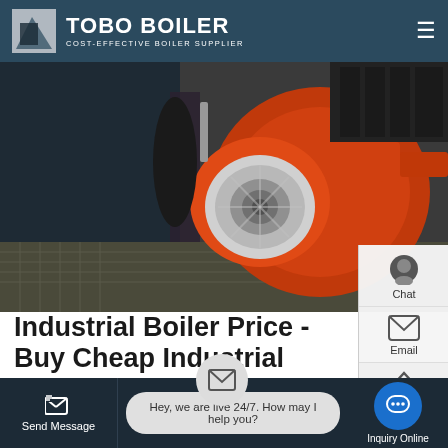TOBO BOILER — COST-EFFECTIVE BOILER SUPPLIER
[Figure (photo): Industrial boiler machinery with orange burner components, piping, and mechanical parts in a factory setting with Chinese text overlay]
Industrial Boiler Price - Buy Cheap Industrial Boiler At
China Price Industrial Water Tube 1 Ton to 40 Ton Automatic Coal Biomass Wood Steam System Boiler. US $ 5000-300000 / Piece. Min. Order:1 Piece. Function: Steam
[Figure (other): WhatsApp green icon bubble with Contact us now! green button overlay]
Send Message   Hey, we are live 24/7. How may I help you?   Inquiry Online